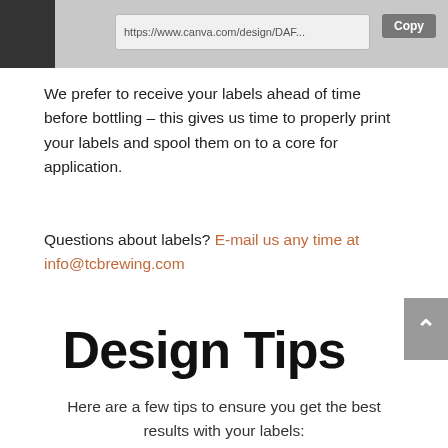[Figure (screenshot): Browser screenshot showing a Canva design URL with a copy button, partially visible logo on left side in dark gray]
We prefer to receive your labels ahead of time before bottling – this gives us time to properly print your labels and spool them on to a core for application.
Questions about labels? E-mail us any time at info@tcbrewing.com
Design Tips
Here are a few tips to ensure you get the best results with your labels: